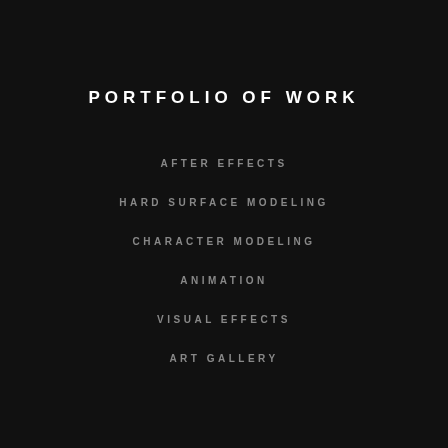PORTFOLIO OF WORK
AFTER EFFECTS
HARD SURFACE MODELING
CHARACTER MODELING
ANIMATION
VISUAL EFFECTS
ART GALLERY